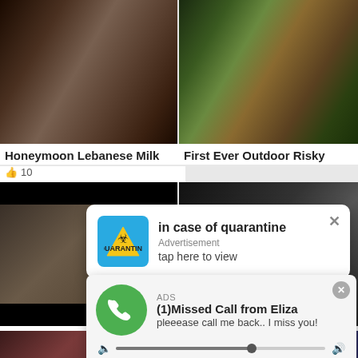[Figure (screenshot): Video thumbnail left - blurry intimate scene, dark tones]
[Figure (screenshot): Video thumbnail right - person in red bikini outdoors on grass]
Honeymoon Lebanese Milk
First Ever Outdoor Risky
10
[Figure (screenshot): Second row left video thumbnail with black bars top and bottom]
[Figure (screenshot): Second row right video thumbnail dark]
Best
95
[Figure (screenshot): Bottom row left thumbnail reddish tones]
[Figure (screenshot): Bottom row right thumbnail dark bluish with circle overlay]
[Figure (infographic): Popup advertisement: in case of quarantine - Advertisement - tap here to view, with blue biohazard icon background]
[Figure (infographic): Popup advertisement: ADS - (1)Missed Call from Eliza - pleeease call me back.. I miss you! with audio player controls showing 0:00 to 3:23]